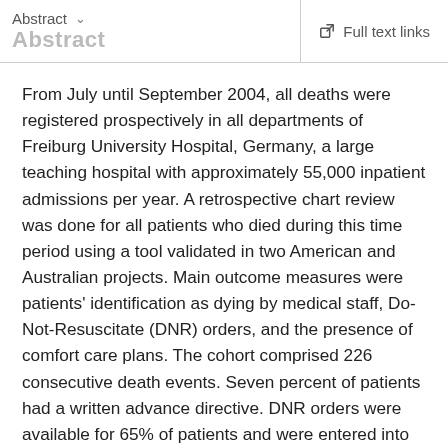Abstract ∨  Full text links
From July until September 2004, all deaths were registered prospectively in all departments of Freiburg University Hospital, Germany, a large teaching hospital with approximately 55,000 inpatient admissions per year. A retrospective chart review was done for all patients who died during this time period using a tool validated in two American and Australian projects. Main outcome measures were patients' identification as dying by medical staff, Do-Not-Resuscitate (DNR) orders, and the presence of comfort care plans. The cohort comprised 226 consecutive death events. Seven percent of patients had a written advance directive. DNR orders were available for 65% of patients and were entered into the charts on average 5.9 days prior to death. Thirty-eight percent of charts had evidence that staff recognized that the patients were dying. This prognosis was noted on average 2.9 days prior to death. According to the tool...